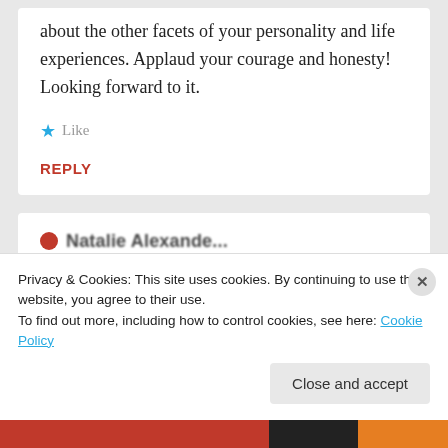about the other facets of your personality and life experiences. Applaud your courage and honesty! Looking forward to it.
★ Like
REPLY
● Natalie Alexande...
Privacy & Cookies: This site uses cookies. By continuing to use this website, you agree to their use.
To find out more, including how to control cookies, see here: Cookie Policy
Close and accept